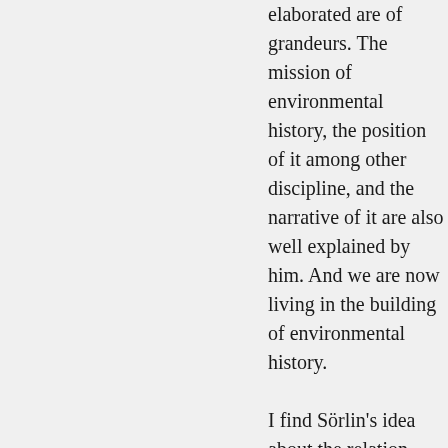elaborated are of grandeurs. The mission of environmental history, the position of it among other discipline, and the narrative of it are also well explained by him. And we are now living in the building of environmental history.

I find Sörlin's idea about the relation between nature and